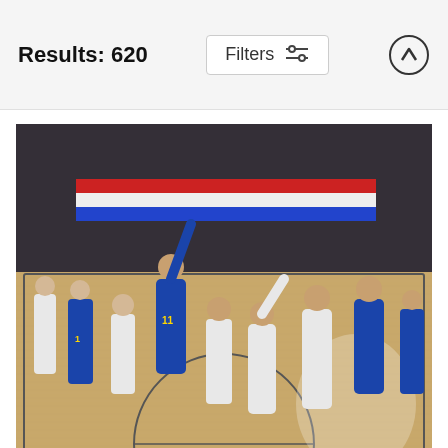Results: 620
Filters
[Figure (photo): NBA basketball game photo showing players from Denver Nuggets (blue uniforms) and San Antonio Spurs (white uniforms) on a hardwood court during a game, multiple players visible including one wearing #11]
Monte Morris
David Dow
$9.62